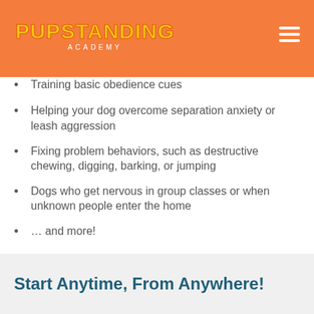[Figure (logo): Pupstanding Academy logo with orange background and yellow text]
Training basic obedience cues
Helping your dog overcome separation anxiety or leash aggression
Fixing problem behaviors, such as destructive chewing, digging, barking, or jumping
Dogs who get nervous in group classes or when unknown people enter the home
… and more!
Start Anytime, From Anywhere!
Online dog training makes it easy for you to start training right away, from anywhere in the world.
No need to wait for puppy vaccines to attend group classes. No waitlist to get into full group classes.